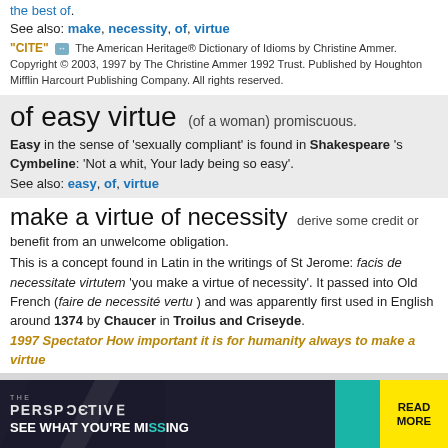the best of.
See also: make, necessity, of, virtue
"CITE" [link icon]  The American Heritage® Dictionary of Idioms by Christine Ammer. Copyright © 2003, 1997 by The Christine Ammer 1992 Trust. Published by Houghton Mifflin Harcourt Publishing Company. All rights reserved.
of easy virtue
(of a woman) promiscuous.
Easy in the sense of 'sexually compliant' is found in Shakespeare 's Cymbeline: 'Not a whit, Your lady being so easy'.
See also: easy, of, virtue
make a virtue of necessity
derive some credit or benefit from an unwelcome obligation.
This is a concept found in Latin in the writings of St Jerome: facis de necessitate virtutem 'you make a virtue of necessity'. It passed into Old French (faire de necessité vertu ) and was apparently first used in English around 1374 by Chaucer in Troilus and Criseyde.
1997 Spectator How important it is for humanity always to make a virtue
[Figure (infographic): Advertisement banner: THE PERSPECTIVE - SEE WHAT YOU'RE MISSING, with READ MORE button]